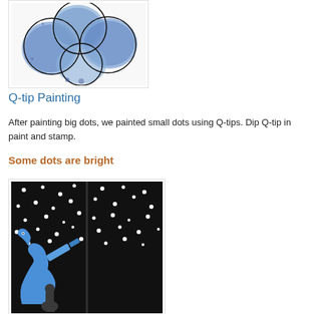[Figure (photo): Photo of blue painted circular dot shapes with black circle outlines on white paper, resembling a bubble printing art activity.]
Q-tip Painting
After painting big dots, we painted small dots using Q-tips. Dip Q-tip in paint and stamp.
Some dots are bright
[Figure (photo): Photo of a book open to a spread showing white dots (stars) on a black background with a blue silhouette of a dragon-like creature looking through a telescope.]